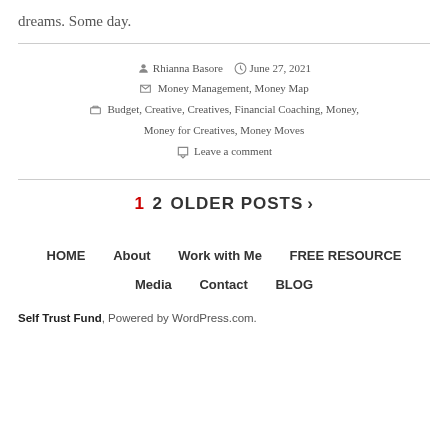dreams. Some day.
Rhianna Basore  June 27, 2021  Money Management, Money Map  Budget, Creative, Creatives, Financial Coaching, Money, Money for Creatives, Money Moves  Leave a comment
1  2  OLDER POSTS  >
HOME  About  Work with Me  FREE RESOURCE  Media  Contact  BLOG
Self Trust Fund, Powered by WordPress.com.